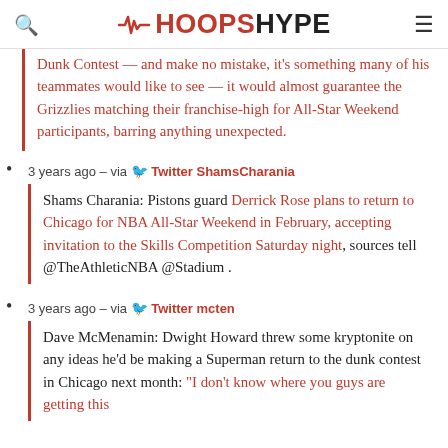HOOPSHYPE
Dunk Contest — and make no mistake, it's something many of his teammates would like to see — it would almost guarantee the Grizzlies matching their franchise-high for All-Star Weekend participants, barring anything unexpected.
3 years ago – via Twitter ShamsCharania
Shams Charania: Pistons guard Derrick Rose plans to return to Chicago for NBA All-Star Weekend in February, accepting invitation to the Skills Competition Saturday night, sources tell @TheAthleticNBA @Stadium .
3 years ago – via Twitter mcten
Dave McMenamin: Dwight Howard threw some kryptonite on any ideas he'd be making a Superman return to the dunk contest in Chicago next month: "I don't know where you guys are getting this